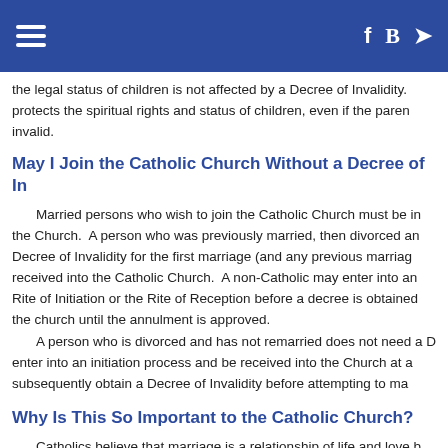Navigation bar with hamburger menu and social icons
the legal status of children is not affected by a Decree of Invalidity. protects the spiritual rights and status of children, even if the parent invalid.
May I Join the Catholic Church Without a Decree of In
Married persons who wish to join the Catholic Church must be in the Church. A person who was previously married, then divorced an Decree of Invalidity for the first marriage (and any previous marria received into the Catholic Church. A non-Catholic may enter into an Rite of Initiation or the Rite of Reception before a decree is obtained the church until the annulment is approved. A person who is divorced and has not remarried does not need a D enter into an initiation process and be received into the Church at a subsequently obtain a Decree of Invalidity before attempting to ma
Why Is This So Important to the Catholic Church?
Catholics believe that marriage is a relationship of life and love b wife. This loving relationship both requires and enables total self-g commitment, and an openness to new life between the spouses. Fo